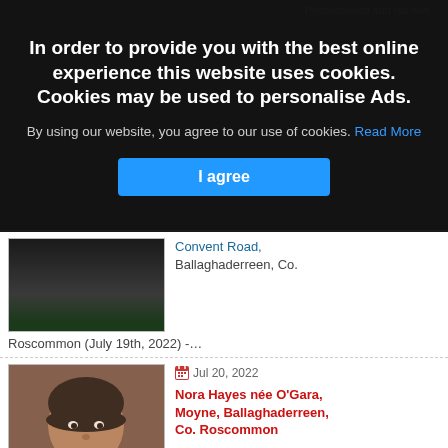Predeceased and his son...
Convent Road, Roscommon
Michael McGovern.
[Figure (photo): Portrait photo of deceased person, partially visible, dark background]
Convent Road, Ballaghaderreen, Co.
Roscommon (July 19th, 2022) -…
Jul 20, 2022
Nora Hayes née O'Gara, Moyne, Ballaghaderreen, Co. Roscommon
[Figure (photo): Portrait photo of Nora Hayes née O'Gara, a woman with short dark hair wearing a dark jacket]
Nora Hayes née O'Gara,
Moyne, Ballaghaderreen, Co. Roscommon (July 19th, 2022) -…
In order to provide you with the best online experience this website uses cookies. Cookies may be used to personalise Ads.
By using our website, you agree to our use of cookies. Read More
I agree